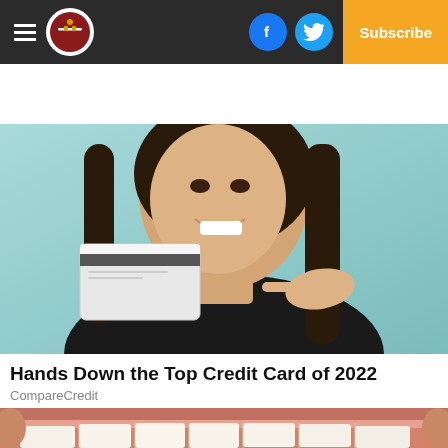Navigation bar with hamburger menu, logo, Facebook icon, Twitter icon, Subscribe button
[Figure (photo): Woman in a black top smiling and holding a credit card up, pointing at it with her other hand, against a teal/light blue background]
Hands Down the Top Credit Card of 2022
CompareCredit
[Figure (photo): Close-up photo of a person's open mouth showing teeth and gums, with fingers visible at the edges]